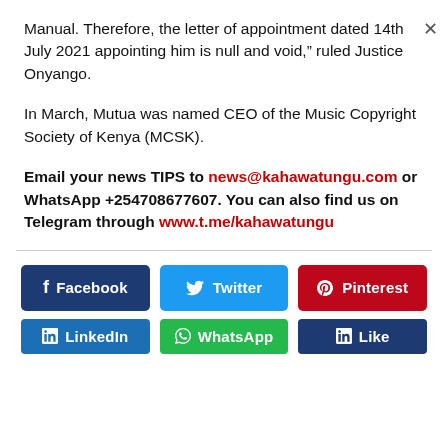Manual. Therefore, the letter of appointment dated 14th July 2021 appointing him is null and void,” ruled Justice Onyango.
In March, Mutua was named CEO of the Music Copyright Society of Kenya (MCSK).
Email your news TIPS to news@kahawatungu.com or WhatsApp +254708677607. You can also find us on Telegram through www.t.me/kahawatungu
[Figure (other): Social media share buttons: Facebook, Twitter, Pinterest, LinkedIn, WhatsApp, Like]